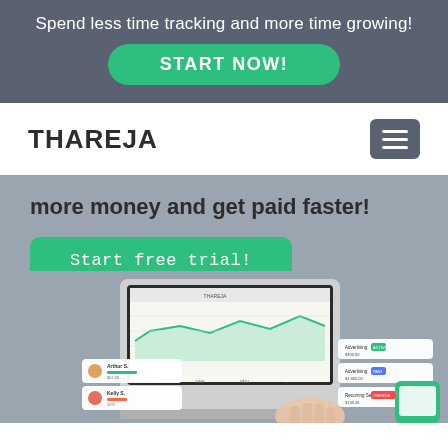Spend less time tracking and more time growing!
START NOW!
THAREJA
more money and get paid faster!
Start free trial!
Give THAREJA a try, no credit card required.
[Figure (screenshot): Screenshot of THAREJA application dashboard shown on a laptop, with UI panels showing employee records (Arthur S., Kelly S.) and invoice/advertising entries on the right side, with a hand typing on keyboard and a phone visible at bottom right.]